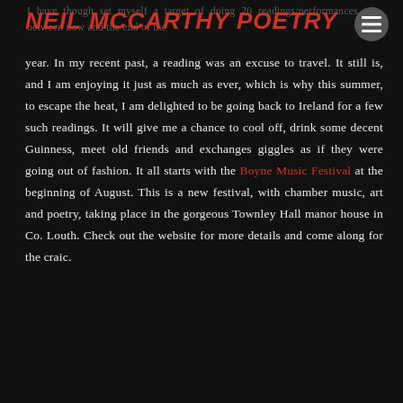NEIL MCCARTHY POETRY
I have though set myself a target of doing 20 readings/performances between now and the end of the year. In my recent past, a reading was an excuse to travel. It still is, and I am enjoying it just as much as ever, which is why this summer, to escape the heat, I am delighted to be going back to Ireland for a few such readings. It will give me a chance to cool off, drink some decent Guinness, meet old friends and exchanges giggles as if they were going out of fashion. It all starts with the Boyne Music Festival at the beginning of August. This is a new festival, with chamber music, art and poetry, taking place in the gorgeous Townley Hall manor house in Co. Louth. Check out the website for more details and come along for the craic.